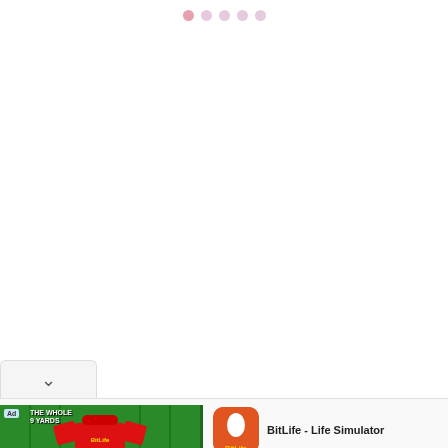• • • • •
[Figure (screenshot): Empty white content area below page header navigation dots]
[Figure (infographic): Collapse/chevron button at bottom left, above ad divider]
[Figure (screenshot): Advertisement banner for BitLife - Life Simulator app showing green football field banner with jersey, BitLife app icon, app title, and INSTALL button]